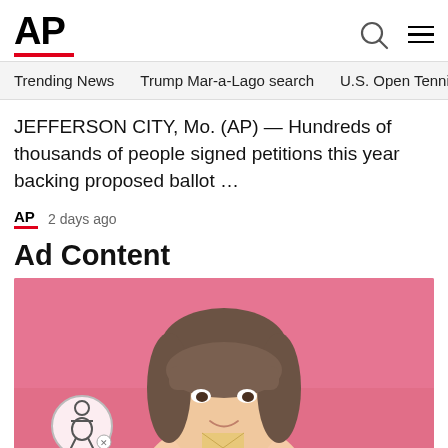AP
Trending News   Trump Mar-a-Lago search   U.S. Open Tennis
JEFFERSON CITY, Mo. (AP) — Hundreds of thousands of people signed petitions this year backing proposed ballot …
AP   2 days ago
Ad Content
[Figure (photo): Young woman with bangs smiling, holding an envelope, against a bright pink background]